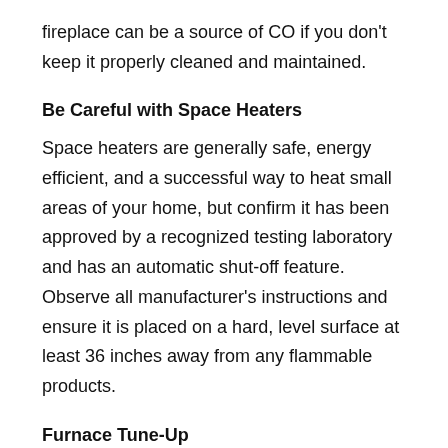fireplace can be a source of CO if you don't keep it properly cleaned and maintained.
Be Careful with Space Heaters
Space heaters are generally safe, energy efficient, and a successful way to heat small areas of your home, but confirm it has been approved by a recognized testing laboratory and has an automatic shut-off feature. Observe all manufacturer's instructions and ensure it is placed on a hard, level surface at least 36 inches away from any flammable products.
Furnace Tune-Up